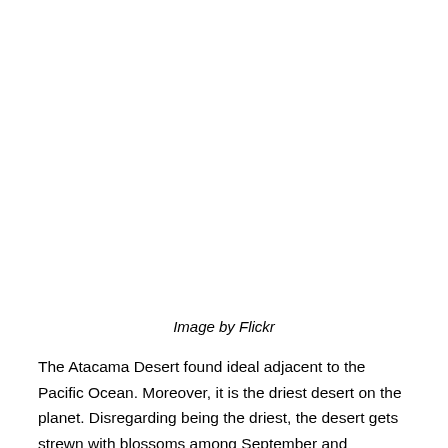[Figure (photo): Image placeholder area (white/blank photo area)]
Image by Flickr
The Atacama Desert found ideal adjacent to the Pacific Ocean. Moreover, it is the driest desert on the planet. Disregarding being the driest, the desert gets strewn with blossoms among September and November. Viewing the nightfall here perhaps the best understanding for nature